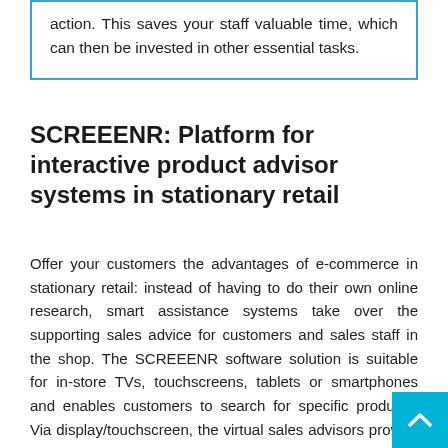action. This saves your staff valuable time, which can then be invested in other essential tasks.
SCREEENR: Platform for interactive product advisor systems in stationary retail
Offer your customers the advantages of e-commerce in stationary retail: instead of having to do their own online research, smart assistance systems take over the supporting sales advice for customers and sales staff in the shop. The SCREEENR software solution is suitable for in-store TVs, touchscreens, tablets or smartphones and enables customers to search for specific products. Via display/touchscreen, the virtual sales advisors provide the essential information about the favoured article so that the purchase decision can be made directly in the shop.